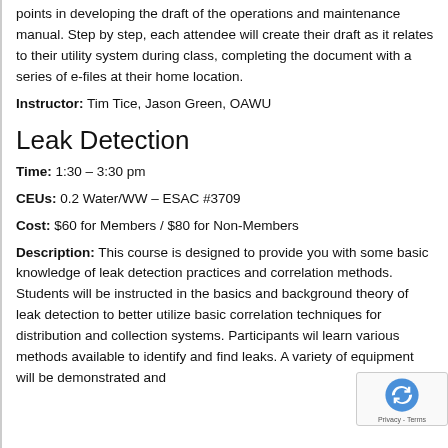points in developing the draft of the operations and maintenance manual. Step by step, each attendee will create their draft as it relates to their utility system during class, completing the document with a series of e-files at their home location.
Instructor: Tim Tice, Jason Green, OAWU
Leak Detection
Time: 1:30 – 3:30 pm
CEUs: 0.2 Water/WW – ESAC #3709
Cost: $60 for Members / $80 for Non-Members
Description: This course is designed to provide you with some basic knowledge of leak detection practices and correlation methods. Students will be instructed in the basics and background theory of leak detection to better utilize basic correlation techniques for distribution and collection systems. Participants will learn various methods available to identify and find leaks. A variety of equipment will be demonstrated and